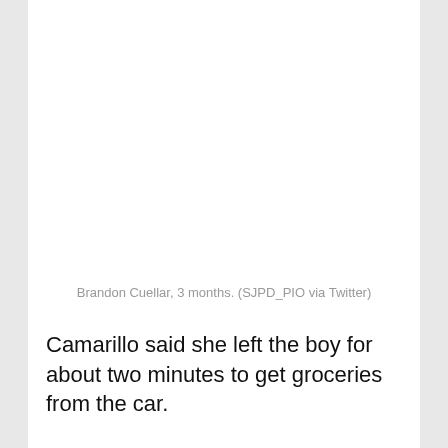Brandon Cuellar, 3 months. (SJPD_PIO via Twitter)
Camarillo said she left the boy for about two minutes to get groceries from the car.
“In that short period of time, someone entered the apartment,” Camarillo said, and left with the child.
The boy’s family did not recognize the man, who was captured by a security camera carrying what